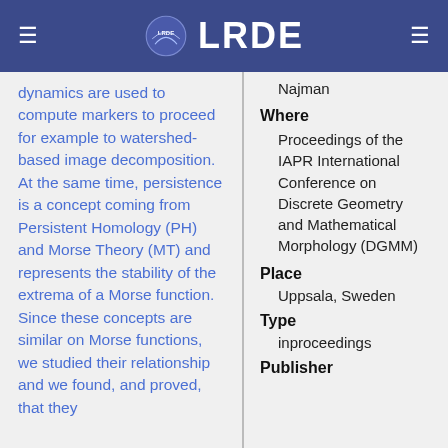LRDE
dynamics are used to compute markers to proceed for example to watershed-based image decomposition. At the same time, persistence is a concept coming from Persistent Homology (PH) and Morse Theory (MT) and represents the stability of the extrema of a Morse function. Since these concepts are similar on Morse functions, we studied their relationship and we found, and proved, that they
Najman
Where
Proceedings of the IAPR International Conference on Discrete Geometry and Mathematical Morphology (DGMM)
Place
Uppsala, Sweden
Type
inproceedings
Publisher